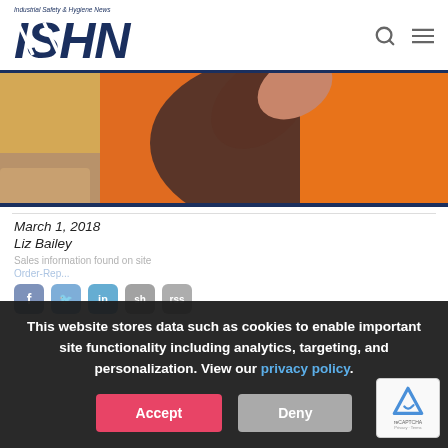Industrial Safety & Hygiene News — ISHN logo with search and menu icons
[Figure (photo): Worker wearing orange high-visibility vest viewed from behind, raising arm, construction site background]
March 1, 2018
Liz Bailey
This website stores data such as cookies to enable important site functionality including analytics, targeting, and personalization. View our privacy policy.
Accept
Deny